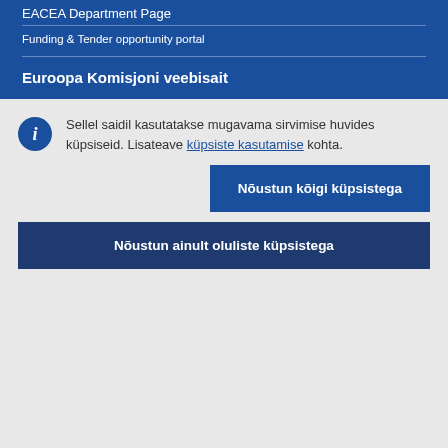EACEA Department Page
Funding & Tender opportunity portal
Euroopa Komisjoni veebisait
Sellel saidil kasutatakse mugavama sirvimise huvides küpsiseid. Lisateave küpsiste kasutamise kohta.
Nõustun kõigi küpsistega
Nõustun ainult oluliste küpsistega